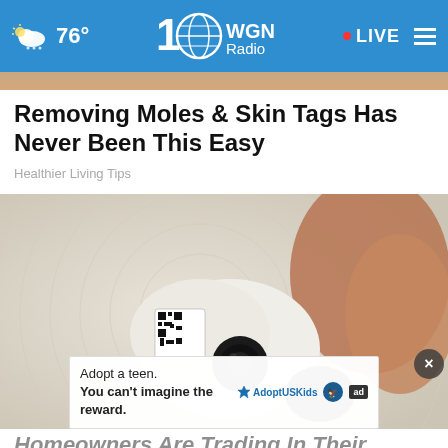76° WGN Radio • LIVE
Removing Moles & Skin Tags Has Never Been This Easy
Healthier Living Tips
[Figure (photo): Close-up photo of a hand holding a small white smart home security camera with a QR code sticker, on a textured light background.]
Adopt a teen. You can't imagine the reward.
Homeowners Are Trading In Their Doorbell Cams